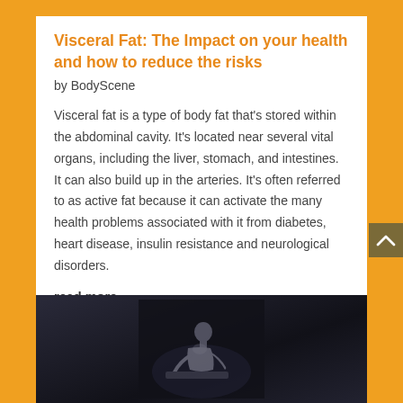Visceral Fat: The Impact on your health and how to reduce the risks
by BodyScene
Visceral fat is a type of body fat that's stored within the abdominal cavity. It's located near several vital organs, including the liver, stomach, and intestines. It can also build up in the arteries. It's often referred to as active fat because it can activate the many health problems associated with it from diabetes, heart disease, insulin resistance and neurological disorders.
read more
[Figure (photo): A person leaning forward, likely working out or exercising, photographed in a dark environment with dramatic lighting]